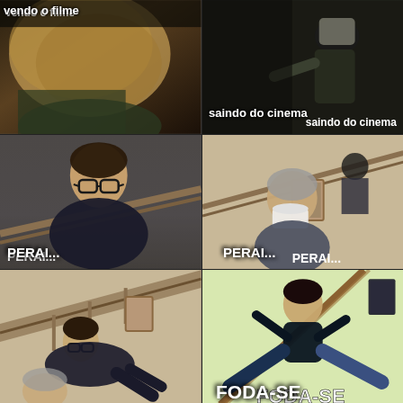[Figure (photo): Top-left panel: close-up of person's back of head with dark background, text 'vendo o filme' partially visible at top]
[Figure (photo): Top-right panel: person exiting with bag over shoulder, text 'saindo do cinema']
[Figure (photo): Middle-left panel: young man with glasses leaning forward on staircase railing, text 'PERAI...']
[Figure (photo): Middle-right panel: older man drinking from cup on staircase, text 'PERAI...']
[Figure (photo): Bottom-left panel: man sliding/falling down staircase railing]
[Figure (photo): Bottom-right panel: man doing splits on a pole/railing, text 'FODA-SE']